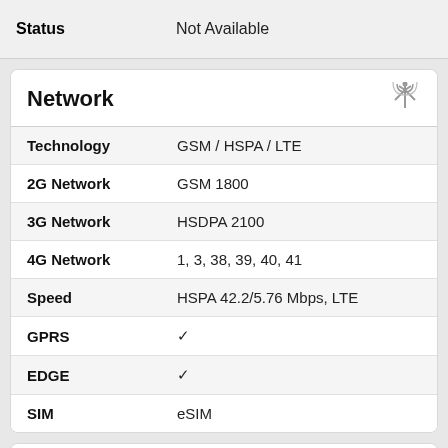| Status |  |
| --- | --- |
| Status | Not Available |
Network
| Spec | Value |
| --- | --- |
| Technology | GSM / HSPA / LTE |
| 2G Network | GSM 1800 |
| 3G Network | HSDPA 2100 |
| 4G Network | 1, 3, 38, 39, 40, 41 |
| Speed | HSPA 42.2/5.76 Mbps, LTE |
| GPRS | ✓ |
| EDGE | ✓ |
| SIM | eSIM |
Design
| Spec | Value |
| --- | --- |
| Dimensions | 125 x 41.5 x 14.2 mm (4.92 x 1.63 x 0.56 in) |